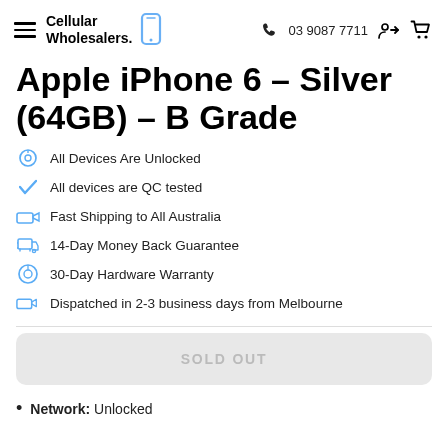Cellular Wholesalers. | 03 9087 7711
Apple iPhone 6 – Silver (64GB) – B Grade
All Devices Are Unlocked
All devices are QC tested
Fast Shipping to All Australia
14-Day Money Back Guarantee
30-Day Hardware Warranty
Dispatched in 2-3 business days from Melbourne
SOLD OUT
Network: Unlocked